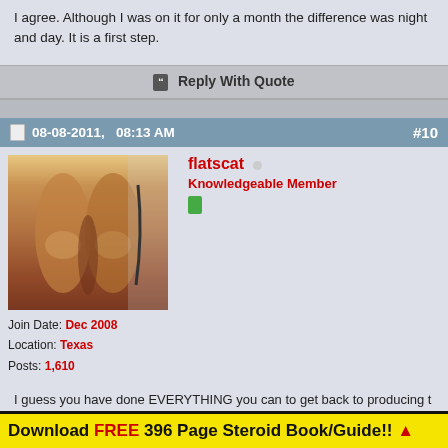I agree. Although I was on it for only a month the difference was night and day. It is a first step.
Reply With Quote
08-08-2011,   08:13 AM  #10
[Figure (photo): Avatar photo showing muscular legs]
flatscat
Knowledgeable Member
Join Date: Dec 2008
Location: Texas
Posts: 1,610
I guess you have done EVERYTHING you can to get back to producing t on your own?????? You are young bro and should be able to bounce back. If not, like the good bro's above have said, find a good endo to help. Please don't think just jumping on trt is your answer.
Download FREE 396 Page Steroid Book/Guide!! ▲